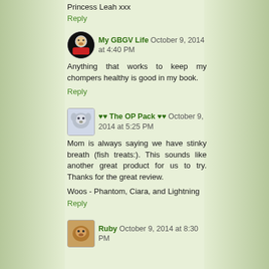Princess Leah xxx
Reply
My GBGV Life  October 9, 2014 at 4:40 PM
Anything that works to keep my chompers healthy is good in my book.
Reply
♥♥ The OP Pack ♥♥  October 9, 2014 at 5:25 PM
Mom is always saying we have stinky breath (fish treats:). This sounds like another great product for us to try. Thanks for the great review.
Woos - Phantom, Ciara, and Lightning
Reply
Ruby  October 9, 2014 at 8:30 PM